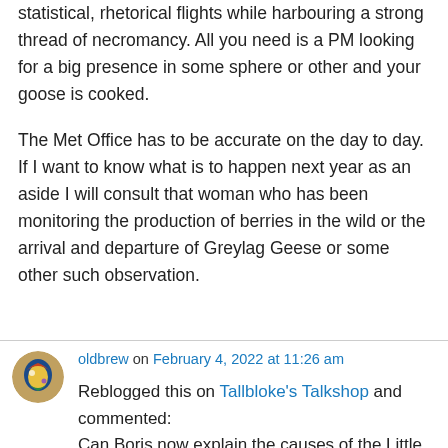statistical, rhetorical flights while harbouring a strong thread of necromancy. All you need is a PM looking for a big presence in some sphere or other and your goose is cooked.
The Met Office has to be accurate on the day to day. If I want to know what is to happen next year as an aside I will consult that woman who has been monitoring the production of berries in the wild or the arrival and departure of Greylag Geese or some other such observation.
oldbrew on February 4, 2022 at 11:26 am
Reblogged this on Tallbloke's Talkshop and commented: Can Boris now explain the causes of the Little